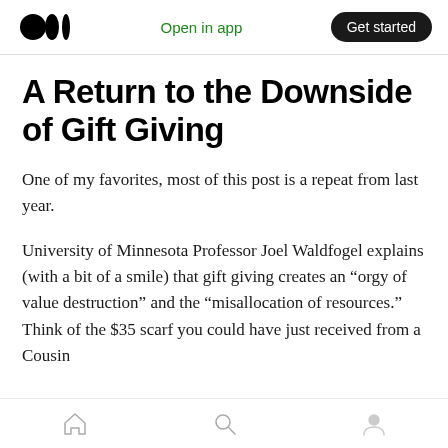Open in app | Get started
A Return to the Downside of Gift Giving
One of my favorites, most of this post is a repeat from last year.
University of Minnesota Professor Joel Waldfogel explains (with a bit of a smile) that gift giving creates an “orgy of value destruction” and the “misallocation of resources.” Think of the $35 scarf you could have just received from a Cousin
Home | Search | Profile